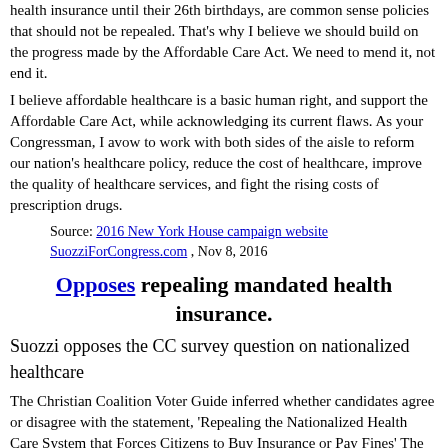health insurance until their 26th birthdays, are common sense policies that should not be repealed. That's why I believe we should build on the progress made by the Affordable Care Act. We need to mend it, not end it.
I believe affordable healthcare is a basic human right, and support the Affordable Care Act, while acknowledging its current flaws. As your Congressman, I avow to work with both sides of the aisle to reform our nation's healthcare policy, reduce the cost of healthcare, improve the quality of healthcare services, and fight the rising costs of prescription drugs.
Source: 2016 New York House campaign website SuozziForCongress.com , Nov 8, 2016
Opposes repealing mandated health insurance.
Suozzi opposes the CC survey question on nationalized healthcare
The Christian Coalition Voter Guide inferred whether candidates agree or disagree with the statement, 'Repealing the Nationalized Health Care System that Forces Citizens to Buy Insurance or Pay Fines' The Christian Coalition notes, "You can help make sure that voters have the facts BEFORE they cast their votes. We have surveyed candidates in the most competitive congressional races on the issues that are important to conservatives."
Source: Christian Coalition Survey 16_CC5 on Nov 8, 2016
Opposes repealing the 2010 affordable care act.
Suozzi opposes the PVS survey question on ObamaCare
The Project Vote Smart Voter Guide inferred how candidates would respond to the question with the Smart Rover survey on repealing the Affordable Care Act.